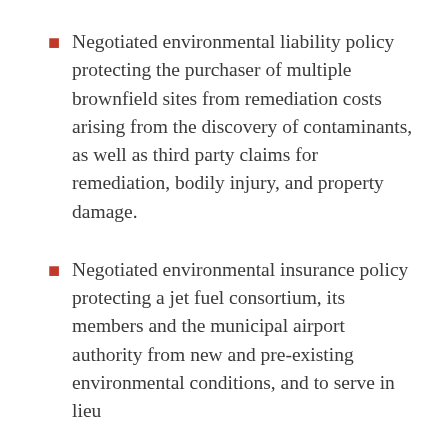Negotiated environmental liability policy protecting the purchaser of multiple brownfield sites from remediation costs arising from the discovery of contaminants, as well as third party claims for remediation, bodily injury, and property damage.
Negotiated environmental insurance policy protecting a jet fuel consortium, its members and the municipal airport authority from new and pre-existing environmental conditions, and to serve in lieu...